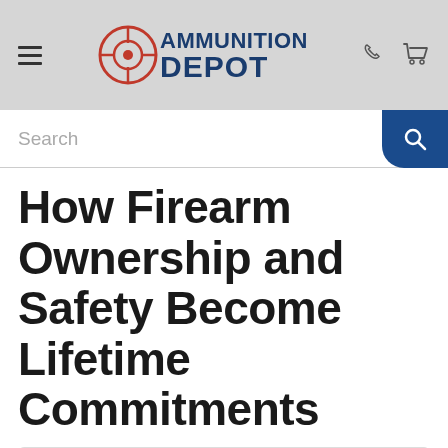Ammunition Depot
Search
How Firearm Ownership and Safety Become Lifetime Commitments
Posted in: Gun Enthusiasts, News